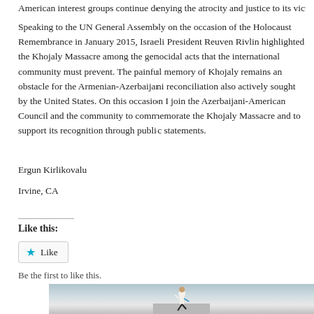American interest groups continue denying the atrocity and justice to its victims.
Speaking to the UN General Assembly on the occasion of the Holocaust Remembrance in January 2015, Israeli President Reuven Rivlin highlighted the Khojaly Massacre among the genocidal acts that the international community must prevent. The painful memory of Khojaly remains an obstacle for the Armenian-Azerbaijani reconciliation also actively sought by the United States. On this occasion I join the Azerbaijani-American Council and the community to commemorate the Khojaly Massacre and to support its recognition through public statements.
Ergun Kirlikovalu
Irvine, CA
Like this:
Be the first to like this.
[Figure (photo): A woman running outdoors, wearing white top and dark shorts, with a colorful armband. She appears to be jogging on a paved surface against a light background.]